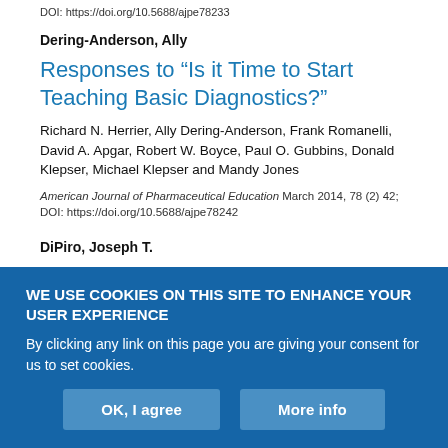DOI: https://doi.org/10.5688/ajpe78233
Dering-Anderson, Ally
Responses to “Is it Time to Start Teaching Basic Diagnostics?”
Richard N. Herrier, Ally Dering-Anderson, Frank Romanelli, David A. Apgar, Robert W. Boyce, Paul O. Gubbins, Donald Klepser, Michael Klepser and Mandy Jones
American Journal of Pharmaceutical Education March 2014, 78 (2) 42; DOI: https://doi.org/10.5688/ajpe78242
DiPiro, Joseph T.
WE USE COOKIES ON THIS SITE TO ENHANCE YOUR USER EXPERIENCE
By clicking any link on this page you are giving your consent for us to set cookies.